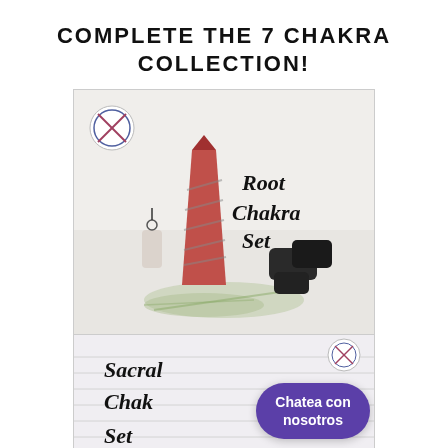COMPLETE THE 7 CHAKRA COLLECTION!
[Figure (photo): Product photo of Root Chakra Set: a red crystal tower, a small crystal pendant on cord, black tourmaline stones, and green leaves on a light background. Cursive text reads 'Root Chakra Set'. Small circular logo in top-left corner.]
[Figure (photo): Partial product photo of Sacral Chakra Set showing cursive text 'Sacral Chakra Set' on a light background with a small circular logo. A purple rounded-rectangle button overlay reads 'Chatea con nosotros'.]